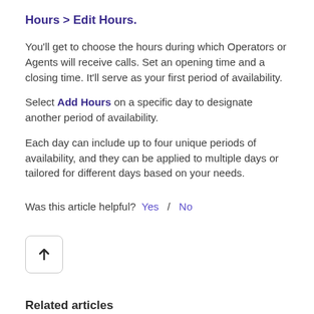Hours > Edit Hours.
You'll get to choose the hours during which Operators or Agents will receive calls. Set an opening time and a closing time. It'll serve as your first period of availability.
Select Add Hours on a specific day to designate another period of availability.
Each day can include up to four unique periods of availability, and they can be applied to multiple days or tailored for different days based on your needs.
Was this article helpful?  Yes  /  No
[Figure (other): Scroll to top button with upward arrow icon]
Related articles